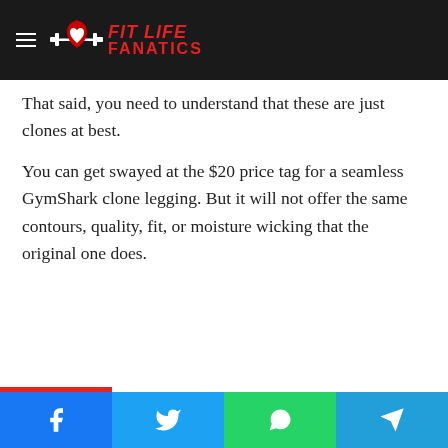FIT LIFE FANATICS
That said, you need to understand that these are just clones at best.
You can get swayed at the $20 price tag for a seamless GymShark clone legging. But it will not offer the same contours, quality, fit, or moisture wicking that the original one does.